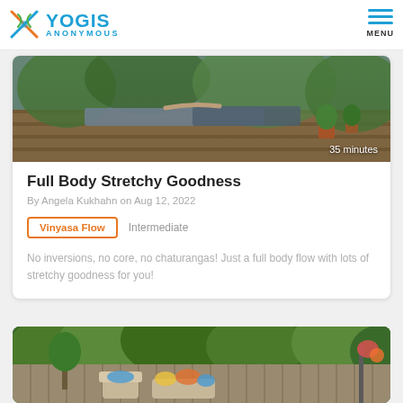YOGIS ANONYMOUS | MENU
[Figure (photo): Overhead view of person doing yoga on mat on wooden deck outdoors with plants in background, duration badge showing 35 minutes]
Full Body Stretchy Goodness
By Angela Kukhahn on Aug 12, 2022
Vinyasa Flow   Intermediate
No inversions, no core, no chaturangas! Just a full body flow with lots of stretchy goodness for you!
[Figure (photo): Outdoor garden patio area with greenery, chairs with colorful cushions, and various plants]